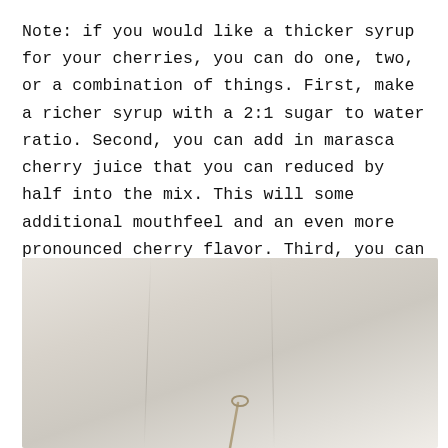Note: if you would like a thicker syrup for your cherries, you can do one, two, or a combination of things. First, make a richer syrup with a 2:1 sugar to water ratio. Second, you can add in marasca cherry juice that you can reduced by half into the mix. This will some additional mouthfeel and an even more pronounced cherry flavor. Third, you can combine both the richer syrup and cherry juice and reduce to a thick syrup.
[Figure (photo): A light-colored fabric or cloth background with soft creases and folds, with what appears to be a spoon or utensil visible at the bottom center of the image.]